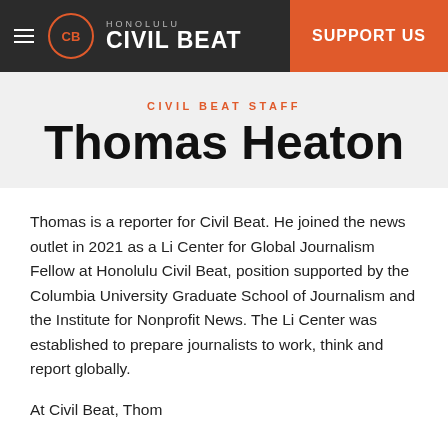Honolulu Civil Beat | SUPPORT US
CIVIL BEAT STAFF
Thomas Heaton
Thomas is a reporter for Civil Beat. He joined the news outlet in 2021 as a Li Center for Global Journalism Fellow at Honolulu Civil Beat, position supported by the Columbia University Graduate School of Journalism and the Institute for Nonprofit News. The Li Center was established to prepare journalists to work, think and report globally.
At Civil Beat, Thom...